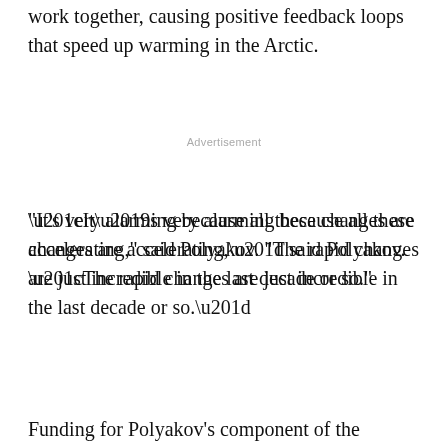work together, causing positive feedback loops that speed up warming in the Arctic.
Advertisement
“It’s very alarming because all these changes are accelerating,” said Polyakov. “The rapid changes are just incredible in the last decade or so.”
Authors of the paper include Hotaek Park, Eiji Watanabe, Youngwook Kim, Igor Polyakov, Kazuhiro Oshima, Xiangdong Zhang, John S. Kimball and Daqing Yang.
Funding for Polyakov’s component of the research